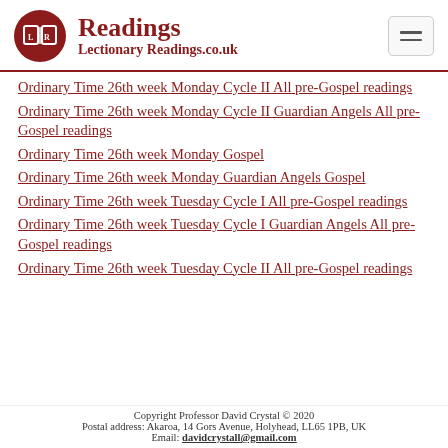Readings — Lectionary Readings.co.uk
Ordinary Time 26th week Monday Cycle II All pre-Gospel readings
Ordinary Time 26th week Monday Cycle II Guardian Angels All pre-Gospel readings
Ordinary Time 26th week Monday Gospel
Ordinary Time 26th week Monday Guardian Angels Gospel
Ordinary Time 26th week Tuesday Cycle I All pre-Gospel readings
Ordinary Time 26th week Tuesday Cycle I Guardian Angels All pre-Gospel readings
Ordinary Time 26th week Tuesday Cycle II All pre-Gospel readings
Copyright Professor David Crystal © 2020
Postal address: Akaroa, 14 Gors Avenue, Holyhead, LL65 1PB, UK
Email: davidcrystall@gmail.com